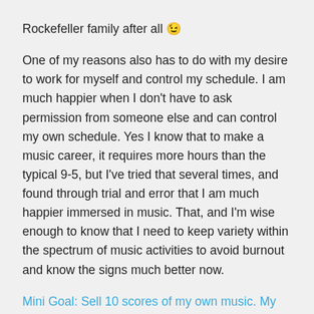Rockefeller family after all 😉
One of my reasons also has to do with my desire to work for myself and control my schedule. I am much happier when I don't have to ask permission from someone else and can control my own schedule. Yes I know that to make a music career, it requires more hours than the typical 9-5, but I've tried that several times, and found through trial and error that I am much happier immersed in music. That, and I'm wise enough to know that I need to keep variety within the spectrum of music activities to avoid burnout and know the signs much better now.
Mini Goal: Sell 10 scores of my own music. My goal is a minimum of 25 total including arrangements.